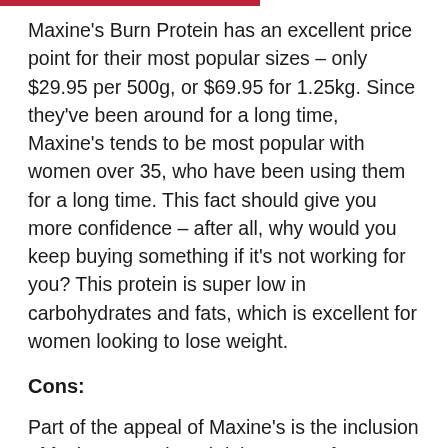Maxine's Burn Protein has an excellent price point for their most popular sizes – only $29.95 per 500g, or $69.95 for 1.25kg. Since they've been around for a long time, Maxine's tends to be most popular with women over 35, who have been using them for a long time. This fact should give you more confidence – after all, why would you keep buying something if it's not working for you? This protein is super low in carbohydrates and fats, which is excellent for women looking to lose weight.
Cons:
Part of the appeal of Maxine's is the inclusion of fat burners. Though it has some famous 'fat-burning' ingredients like L-Carnitine, Green Tea and Raspberry Ketones, the amounts of each are not enough to be